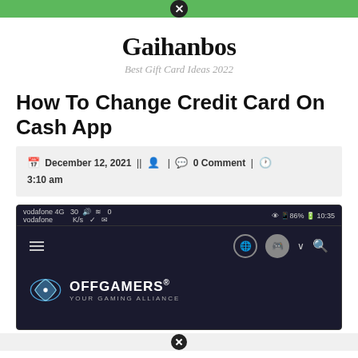Gaihanbos - Best Gift Card Ideas 2022
Gaihanbos
Best Gift Card Ideas 2022
How To Change Credit Card On Cash App
December 12, 2021 || 0 Comment | 3:10 am
[Figure (screenshot): Screenshot of OffGamers website on a mobile device with Vodafone network, 86% battery, 10:35 time, showing the OffGamers logo and navigation bar.]